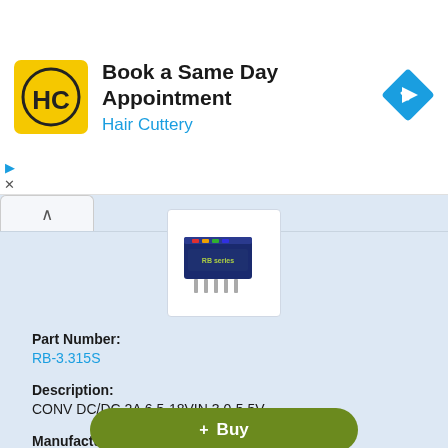[Figure (logo): Hair Cuttery advertisement banner with HC logo in yellow square, navigation arrow icon in blue diamond]
[Figure (photo): Electronic DC/DC converter module RB-3.315S, small blue rectangular component with pins]
Part Number:
RB-3.315S
Description:
CONV DC/DC 2A 6.5-18VIN 3.0-5.5V
Manufacturer:
Recom Power Inc
Datasheet:
RB-0505S.pdf  (3 pages)